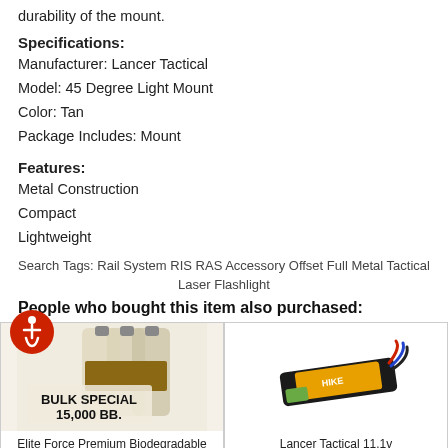durability of the mount.
Specifications:
Manufacturer: Lancer Tactical
Model: 45 Degree Light Mount
Color: Tan
Package Includes: Mount
Features:
Metal Construction
Compact
Lightweight
Search Tags: Rail System RIS RAS Accessory Offset Full Metal Tactical Laser Flashlight
People who bought this item also purchased:
[Figure (photo): Bulk Special 15,000 BBs product photo showing three bottles]
Elite Force Premium Biodegradable .25g 5000 ct. BBs 3 Bottle Special (White)
[Figure (photo): Lancer Tactical 11.1v 900mAh 3s 30c LiPO Stick battery product photo]
Lancer Tactical 11.1v 900mAh 3s 30c LiPO Stick